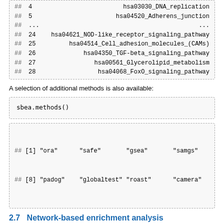| ## 4 | hsa03030_DNA_replication |
| ## 5 | hsa04520_Adherens_junction |
| ## ... | ... |
| ## 24 | hsa04621_NOD-like_receptor_signaling_pathway |
| ## 25 | hsa04514_Cell_adhesion_molecules_(CAMs) |
| ## 26 | hsa04350_TGF-beta_signaling_pathway |
| ## 27 | hsa00561_Glycerolipid_metabolism |
| ## 28 | hsa04068_FoxO_signaling_pathway |
A selection of additional methods is also available:
| sbea.methods() |
| ## [1] "ora" | "safe" | "gsea" | "samgs" |
| ## [8] "padog" | "globaltest" | "roast" | "camera" |
2.7    Network-based enrichment analysis
Having found gene sets that show enrichment for differential expression, we are now interested whether these findings can be supported by known regulatory interactions.